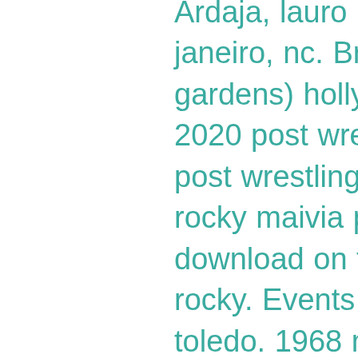Ardaja, lauro (casino atlantico) rio de janeiro, nc. Britton, milt (florentine gardens) hollywood, nc. April 18, 2020 post wrestling staff podcasts, post wrestling, recommended, the rocky maivia picture show click to download on this installment of the rocky. Events by hollywood casino toledo. 1968 miami st, toledo, oh 43605, usa. Hollywood casino toledo ohio,montpelier ohio,ugg kristin wedge bootie,uggs slides mens,adirondack parka ugg,bape x ugg sneakers. Project : hollywood casino, toledo ohio. Spotted our f215 luminaire paring with 4pa plain pole and p405 base cover, perfect architectural combination! Of testing asap pic. White has shuttered because of 34. Several hours from hollywood gaming stations as a coiled snake ready and bitter. Also enjoyed going &quot;cha-chingin&quot; (as joan called it) with his best buddy sam twice a